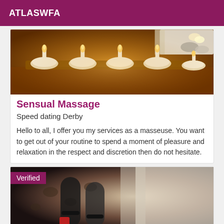ATLASWFA
[Figure (photo): Photo of spa candles arranged on a wooden surface with towels and flowers in the background, warm amber lighting]
Sensual Massage
Speed dating Derby
Hello to all, I offer you my services as a masseuse. You want to get out of your routine to spend a moment of pleasure and relaxation in the respect and discretion then do not hesitate.
[Figure (photo): Photo showing a person's legs in dark stockings with red heels against a leopard print background, with a 'Verified' badge overlay]